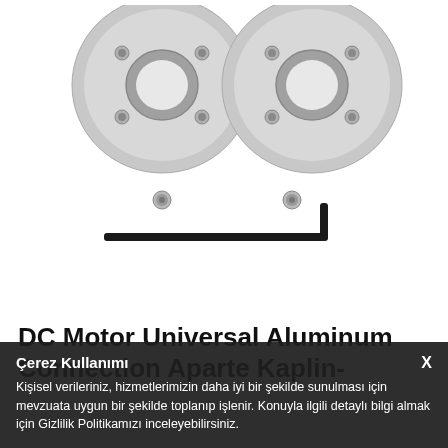[Figure (photo): Product photo showing two aluminum disc couplings/flanges with center holes and screw holes, two set screws, and an L-shaped hex wrench/Allen key on white background]
DC Motor Universal Aluminum Connection Aparte Kaplin-
Çerez Kullanımı
Kişisel verileriniz, hizmetlerimizin daha iyi bir şekilde sunulması için mevzuata uygun bir şekilde toplanıp işlenir. Konuyla ilgili detaylı bilgi almak için Gizlilik Politikamızı inceleyebilirsiniz.